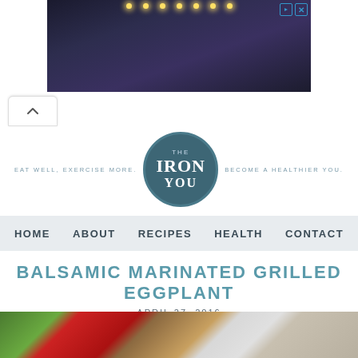[Figure (photo): Dark restaurant/bar scene advertisement banner with string lights overhead and people seated]
[Figure (logo): The Iron You circular logo with text EAT WELL, EXERCISE MORE. on left and BECOME A HEALTHIER YOU. on right]
HOME   ABOUT   RECIPES   HEALTH   CONTACT
BALSAMIC MARINATED GRILLED EGGPLANT
APRIL 27, 2016
[Figure (photo): Food photo showing herbs, red pepper, and wooden surface]